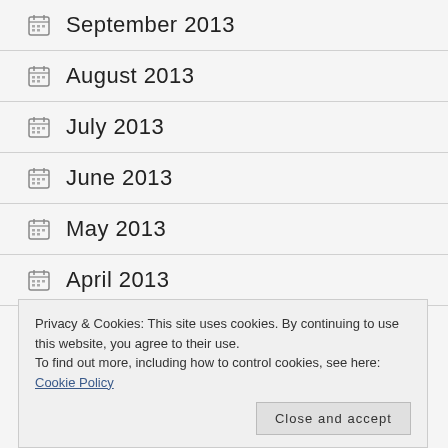September 2013
August 2013
July 2013
June 2013
May 2013
April 2013
Privacy & Cookies: This site uses cookies. By continuing to use this website, you agree to their use.
To find out more, including how to control cookies, see here: Cookie Policy
Close and accept